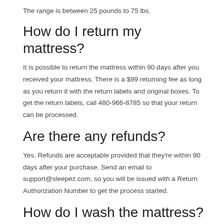The range is between 25 pounds to 75 lbs.
How do I return my mattress?
It is possible to return the mattress within 90 days after you received your mattress. There is a $99 returning fee as long as you return it with the return labels and original boxes. To get the return labels, call 480-966-8785 so that your return can be processed.
Are there any refunds?
Yes. Refunds are acceptable provided that they're within 90 days after your purchase. Send an email to support@sleepez.com, so you will be issued with a Return Authorization Number to get the process started.
How do I wash the mattress?
It is not recommended to wash the mattress. For the...